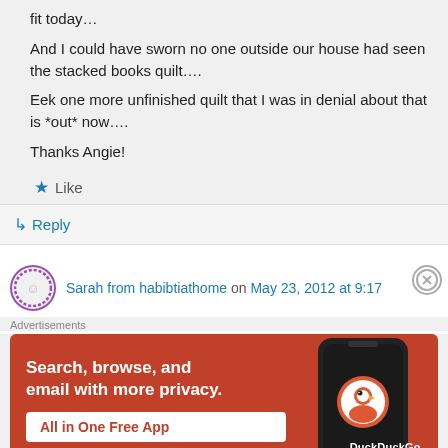fit today…
And I could have sworn no one outside our house had seen the stacked books quilt….
Eek one more unfinished quilt that I was in denial about that is *out* now….
Thanks Angie!
Like
Reply
Sarah from habibtiathome on May 23, 2012 at 9:17
Advertisements
[Figure (infographic): DuckDuckGo advertisement: orange background with phone device on right, text 'Search, browse, and email with more privacy. All in One Free App' and DuckDuckGo logo.]